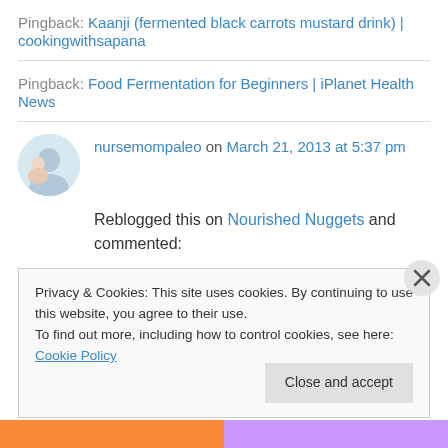Pingback: Kaanji (fermented black carrots mustard drink) | cookingwithsapana
Pingback: Food Fermentation for Beginners | iPlanet Health News
nursemompaleo on March 21, 2013 at 5:37 pm
Reblogged this on Nourished Nuggets and commented:
Privacy & Cookies: This site uses cookies. By continuing to use this website, you agree to their use. To find out more, including how to control cookies, see here: Cookie Policy
Close and accept